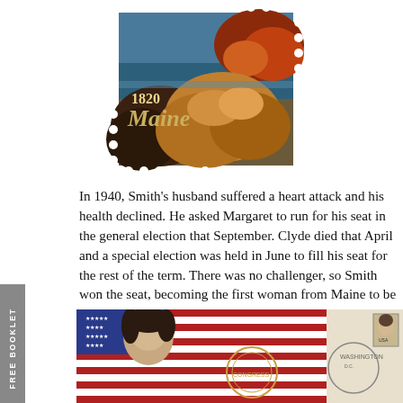[Figure (illustration): A postage stamp depicting rocky Maine coastline with orange/red rocks and blue water. Text on stamp reads '1820 Maine'.]
In 1940, Smith's husband suffered a heart attack and his health declined. He asked Margaret to run for his seat in the general election that September. Clyde died that April and a special election was held in June to fill his seat for the rest of the term. There was no challenger, so Smith won the seat, becoming the first woman from Maine to be elected to Congress. Later that year, she was elected to he first of four full two-year terms. In each election, she lways received at least 60% of the vote.
[Figure (photo): Photo of a woman with an American flag and an official seal in the background.]
[Figure (photo): Postcard or envelope showing Washington postmark and a small portrait stamp of a woman.]